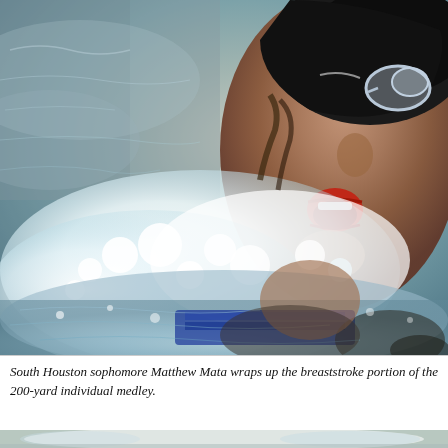[Figure (photo): A swimmer, South Houston sophomore Matthew Mata, photographed mid-stroke in the water. He is wearing a dark swim cap and goggles, his mouth open above the churning white foam and splashing water. Blue pool lane dividers are visible in the background.]
South Houston sophomore Matthew Mata wraps up the breaststroke portion of the 200-yard individual medley.
[Figure (photo): Partial view of a second swimming photo visible at the bottom of the page.]